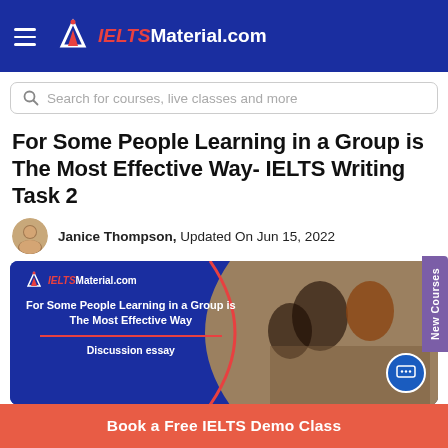IELTSMaterial.com
Search for courses, live classes and more
For Some People Learning in a Group is The Most Effective Way- IELTS Writing Task 2
Janice Thompson, Updated On Jun 15, 2022
[Figure (illustration): IELTSMaterial.com banner with text: For Some People Learning in a Group is The Most Effective Way, Discussion essay, with photo of students studying together]
Book a Free IELTS Demo Class